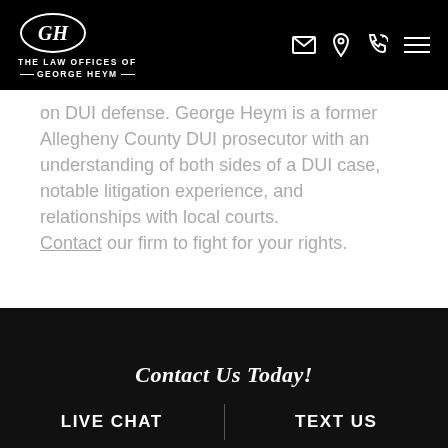THE LAW OFFICES OF GEORGE HEYM
on DUI defense. George Heym is a former Allegheny County DUI prosecutor with an understanding of both sides of a DUI case, notable litigation experience, and relationships with local courts. Contact our firm to fight for your rights.
Contact Us Today!
LIVE CHAT | TEXT US